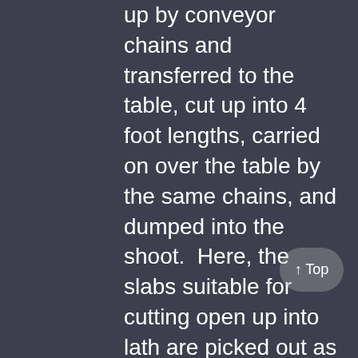up by conveyor chains and transferred to the table, cut up into 4 foot lengths, carried on over the table by the same chains, and dumped into the shoot.  Here, the slabs suitable for cutting open up into lath are picked out as they pass the lath mill, and the remainder carried away by the large refuse conveyor chain. The above improvements were put in by the D.J. Murray Manufacturing Company of Wausau, Wisconsin.
As is well known, Captain Pike is progressive in his ideas, and is always on the look for the best and latest improvements for his mill.  In addition to the new machinery mentioned above, all machines...